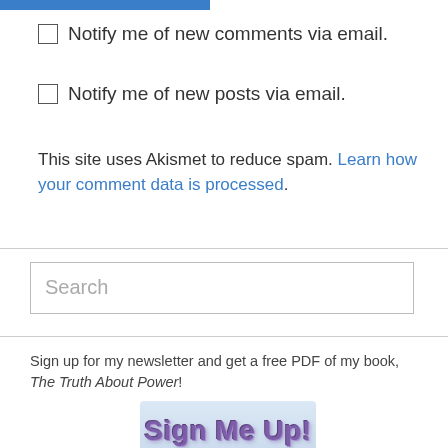[Figure (other): Blue horizontal bar at top of page]
Notify me of new comments via email.
Notify me of new posts via email.
This site uses Akismet to reduce spam. Learn how your comment data is processed.
[Figure (other): Search input box with placeholder text 'Search']
Sign up for my newsletter and get a free PDF of my book, The Truth About Power!
[Figure (other): Blue button with text 'Sign Me Up!']